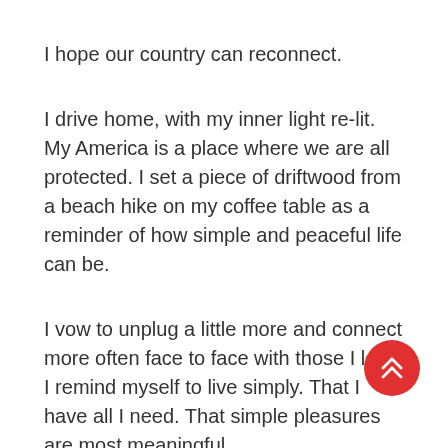I hope our country can reconnect.
I drive home, with my inner light re-lit. My America is a place where we are all protected. I set a piece of driftwood from a beach hike on my coffee table as a reminder of how simple and peaceful life can be.
I vow to unplug a little more and connect more often face to face with those I love. I remind myself to live simply. That I have all I need. That simple pleasures are most meaningful.
And I'm grateful for those who stand watch